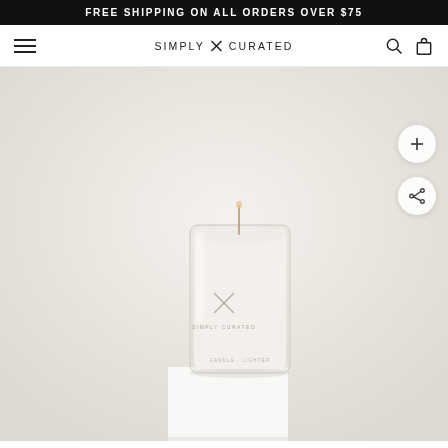FREE SHIPPING ON ALL ORDERS OVER $75
SIMPLY X CURATED
[Figure (photo): A white candle in a clear glass vessel with a Simple Curated logo (X mark) on the front, sitting on a white cube pedestal against a warm beige/cream background. Two circular action buttons (plus and share) are visible on the right side.]